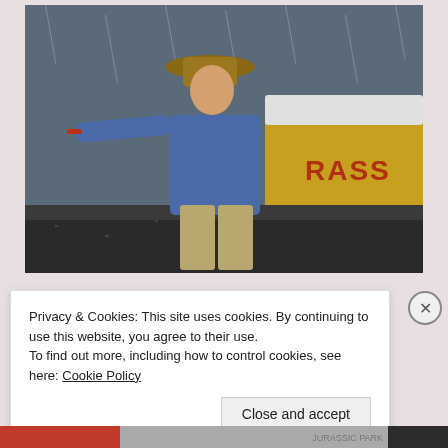[Figure (photo): A man in a blue shirt and wide-brimmed hat pointing with a red object, standing in the rain in front of a yellow Jurassic Park vehicle. Movie still from Jurassic Park.]
Privacy & Cookies: This site uses cookies. By continuing to use this website, you agree to their use.
To find out more, including how to control cookies, see here: Cookie Policy